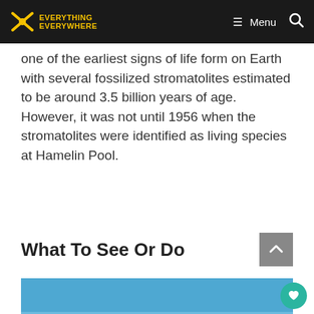EVERYTHING EVERYWHERE — Menu
one of the earliest signs of life form on Earth with several fossilized stromatolites estimated to be around 3.5 billion years of age. However, it was not until 1956 when the stromatolites were identified as living species at Hamelin Pool.
What To See Or Do
[Figure (photo): Coastal landscape photo showing a rocky shoreline with blue ocean water and clear blue sky, likely Hamelin Pool in Australia.]